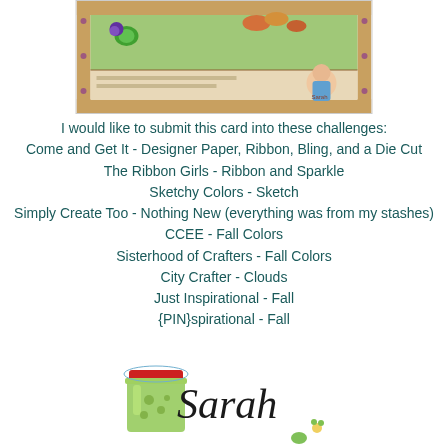[Figure (photo): Photo of a handmade card with decorative paper, ribbon, flowers, and a small doll/character sticker in the lower right corner]
I would like to submit this card into these challenges:
Come and Get It - Designer Paper, Ribbon, Bling, and a Die Cut
The Ribbon Girls - Ribbon and Sparkle
Sketchy Colors - Sketch
Simply Create Too - Nothing New (everything was from my stashes)
CCEE - Fall Colors
Sisterhood of Crafters - Fall Colors
City Crafter - Clouds
Just Inspirational - Fall
{PIN}spirational - Fall
[Figure (illustration): Signature graphic with a green mason jar illustration and cursive 'Sarah' text signature with small flower decorations]